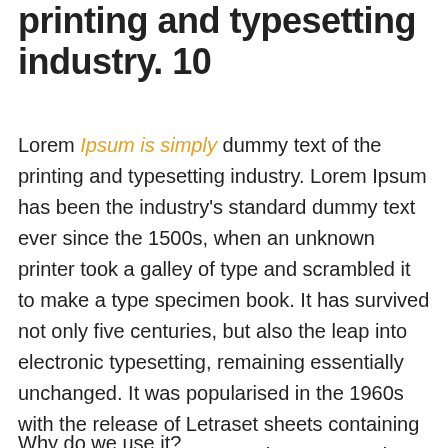printing and typesetting industry. 10
Lorem Ipsum is simply dummy text of the printing and typesetting industry. Lorem Ipsum has been the industry's standard dummy text ever since the 1500s, when an unknown printer took a galley of type and scrambled it to make a type specimen book. It has survived not only five centuries, but also the leap into electronic typesetting, remaining essentially unchanged. It was popularised in the 1960s with the release of Letraset sheets containing Lorem Ipsum passages, and more recently with desktop publishing software like Aldus PageMaker including versions of Lorem Ipsum.
Why do we use it?